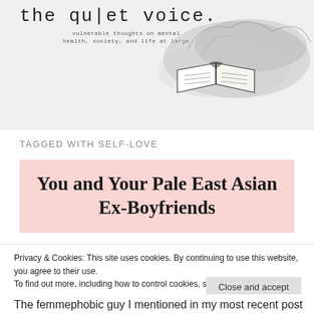[Figure (illustration): Blog header banner for 'the quiet voice' with typewriter-font title, subtitle 'vulnerable thoughts on mental health, society, and life at large', and a watercolor/ink illustration of an open book with dark smoke/splash on a light grey background]
TAGGED WITH SELF-LOVE
You and Your Pale East Asian Ex-Boyfriends
Privacy & Cookies: This site uses cookies. By continuing to use this website, you agree to their use.
To find out more, including how to control cookies, see here: Cookie Policy
The femmephobic guy I mentioned in my most recent post